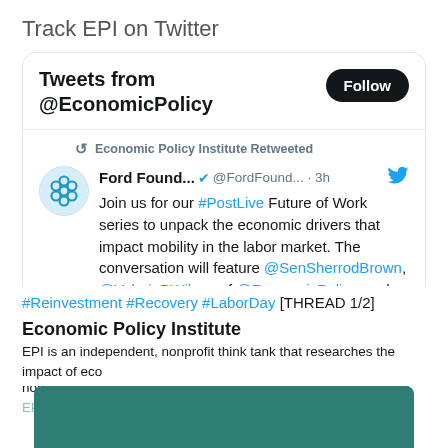Track EPI on Twitter
[Figure (screenshot): Twitter widget showing Tweets from @EconomicPolicy with a Follow button. A retweet from Ford Foundation (@FordFound...) posted 3h ago reads: Join us for our #PostLive Future of Work series to unpack the economic drivers that impact mobility in the labor market. The conversation will feature @SenSherrodBrown, @ValerieRWilson of @EconomicPolicy, and @DavidMadland of @AMProg. Followed by hashtag links #Reinvestment #Recovery #LaborDay [THREAD 1/2]]
Economic Policy Institute
EPI is an independent, nonprofit think tank that researches the impact of economic trends and policies on working people in the United States. EPI's research helps policymakers, opinion leaders, advocates, jour...